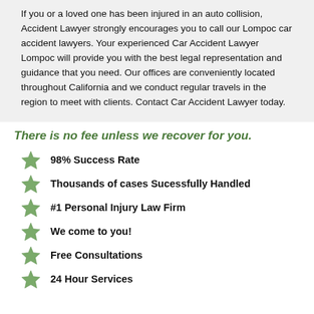If you or a loved one has been injured in an auto collision, Accident Lawyer strongly encourages you to call our Lompoc car accident lawyers. Your experienced Car Accident Lawyer Lompoc will provide you with the best legal representation and guidance that you need. Our offices are conveniently located throughout California and we conduct regular travels in the region to meet with clients. Contact Car Accident Lawyer today.
There is no fee unless we recover for you.
98% Success Rate
Thousands of cases Sucessfully Handled
#1 Personal Injury Law Firm
We come to you!
Free Consultations
24 Hour Services